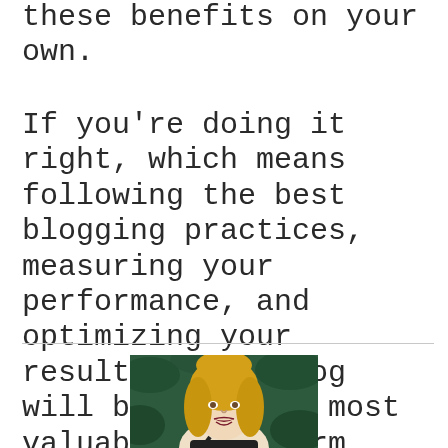these benefits on your own.
If you're doing it right, which means following the best blogging practices, measuring your performance, and optimizing your results, your blog will become your most valuable long-term asset, both in terms of improved business performance and personal development!
[Figure (photo): Portrait photo of a young blonde woman smiling, wearing a black outfit, with green foliage in the background.]